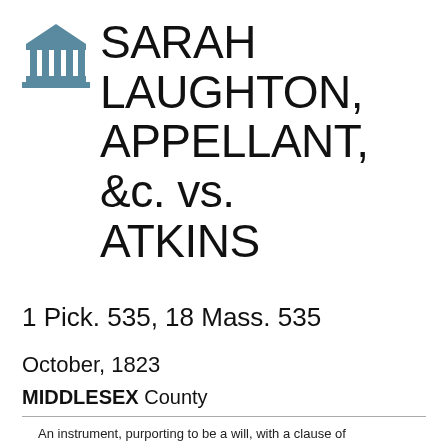[Figure (logo): Court/institution icon: a building with columns (courthouse emoji style), in teal/slate blue color]
SARAH LAUGHTON, APPELLANT, &c. vs. ATKINS
1 Pick. 535, 18 Mass. 535
October, 1823
MIDDLESEX County
An instrument, purporting to be a will, with a clause of revocation, cannot be offered in evidence as a revocation